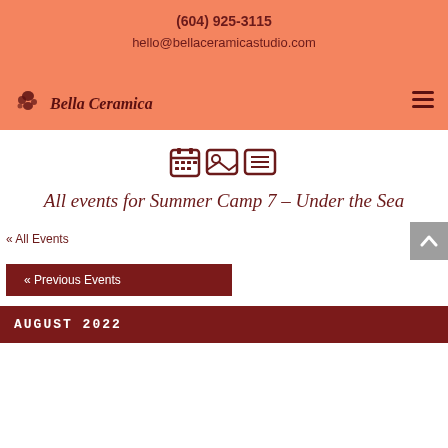(604) 925-3115
hello@bellaceramicastudio.com
[Figure (logo): Bella Ceramica logo with ink splat above cursive text 'Bella Ceramica']
[Figure (other): Three view-toggle icons: calendar grid, photo/image, and list table view]
All events for Summer Camp 7 – Under the Sea
« All Events
« Previous Events
AUGUST 2022